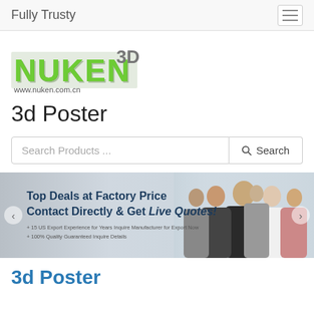Fully Trusty
[Figure (logo): Nuken 3D logo with green 3D letters and www.nuken.com.cn URL]
3d Poster
Search Products ...
[Figure (infographic): Banner ad: Top Deals at Factory Price Contact Directly & Get Live Quotes! with group of business people]
3d Poster